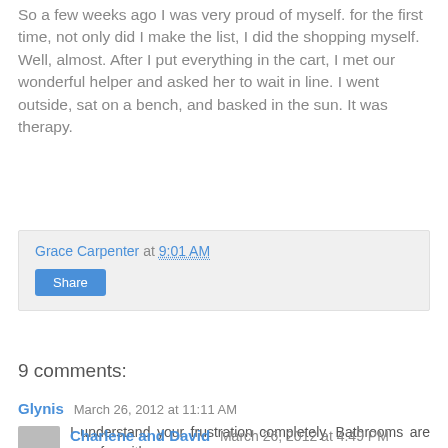So a few weeks ago I was very proud of myself. for the first time, not only did I make the list, I did the shopping myself. Well, almost. After I put everything in the cart, I met our wonderful helper and asked her to wait in line. I went outside, sat on a bench, and basked in the sun. It was therapy.
Grace Carpenter at 9:01 AM
Share
9 comments:
Glynis  March 26, 2012 at 11:11 AM
I understand your frustration completely. Bathrooms are very fun either.
Reply
Charlene and David  March 26, 2012 at 4:49 PM